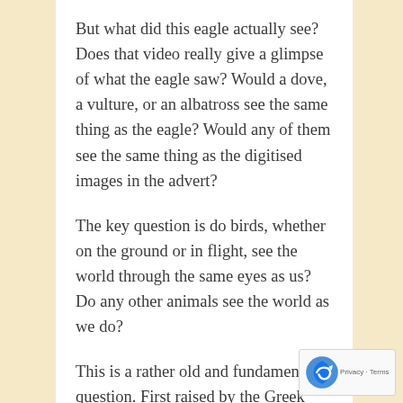But what did this eagle actually see? Does that video really give a glimpse of what the eagle saw? Would a dove, a vulture, or an albatross see the same thing as the eagle? Would any of them see the same thing as the digitised images in the advert?
The key question is do birds, whether on the ground or in flight, see the world through the same eyes as us? Do any other animals see the world as we do?
This is a rather old and fundamental question. First raised by the Greek philosopher Epicurus, it cuts straight to the...